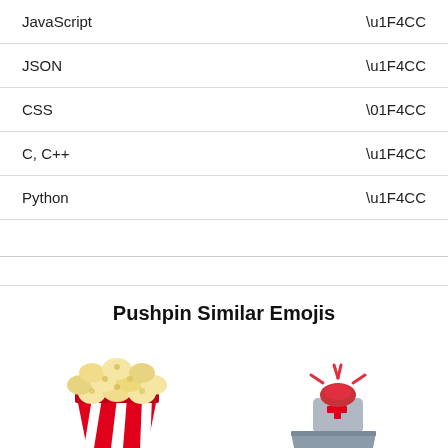| Language | Code |
| --- | --- |
| JavaScript | \u1F4CC |
| JSON | \u1F4CC |
| CSS | \01F4CC |
| C, C++ | \u1F4CC |
| Python | \u1F4CC |
Pushpin Similar Emojis
[Figure (illustration): Popcorn emoji illustration - red and white striped popcorn bucket with popcorn on top]
[Figure (illustration): Police car light / ambulance emoji illustration - red flashing light on top of a grey box with a red cross]